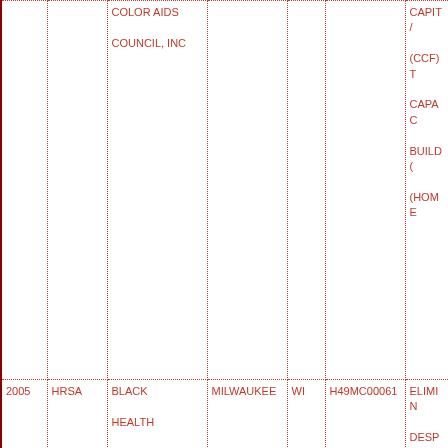|  |  | COLOR AIDS

COUNCIL, INC |  |  |  | CAPIT/

(CCF) T

CAPAC

BUILD

(HOME |
| 2005 | HRSA | BLACK

HEALTH

COALITION

OF

WISCONSIN | MILWAUKEE | WI | H49MC00061 | ELIMIN

DESPA |
| 2005 | HRSA | BLACK

HEALTH

COALITION | MILWAUKEE | WI | H49MC00061 | ELIMIN

DESPA |